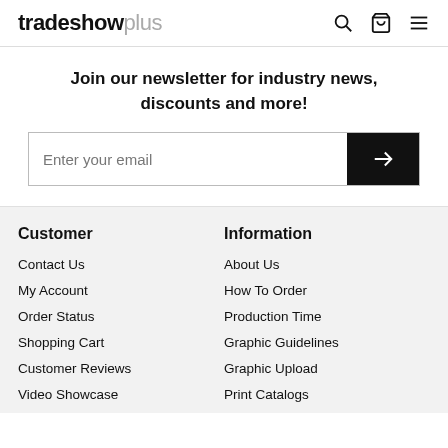tradeshowplus
Join our newsletter for industry news, discounts and more!
Enter your email
Customer
Information
Contact Us
About Us
My Account
How To Order
Order Status
Production Time
Shopping Cart
Graphic Guidelines
Customer Reviews
Graphic Upload
Video Showcase
Print Catalogs